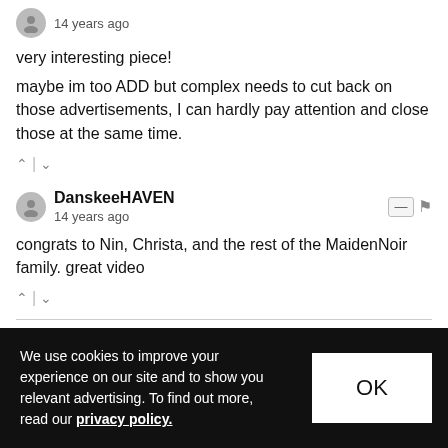14 years ago
very interesting piece!
maybe im too ADD but complex needs to cut back on those advertisements, I can hardly pay attention and close those at the same time.
DanskeeHAVEN
14 years ago
congrats to Nin, Christa, and the rest of the MaidenNoir family. great video
Subscribe  Do Not Sell My Data
We use cookies to improve your experience on our site and to show you relevant advertising. To find out more, read our privacy policy.